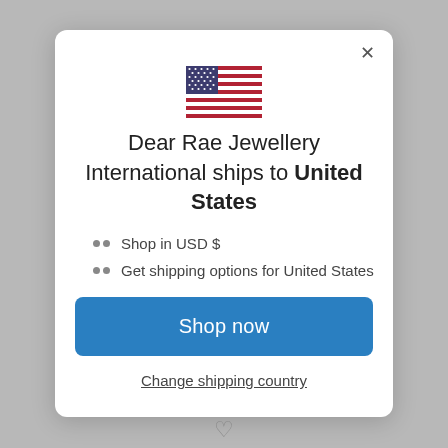[Figure (illustration): US flag SVG illustration]
Dear Rae Jewellery International ships to United States
Shop in USD $
Get shipping options for United States
Shop now
Change shipping country